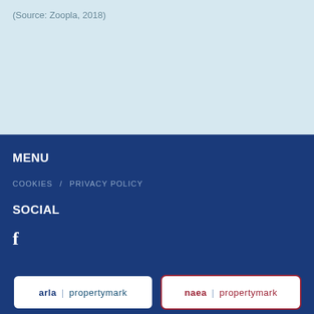(Source: Zoopla, 2018)
MENU
COOKIES / PRIVACY POLICY
SOCIAL
f
[Figure (logo): arla | propertymark logo in blue]
[Figure (logo): naea | propertymark logo in red]